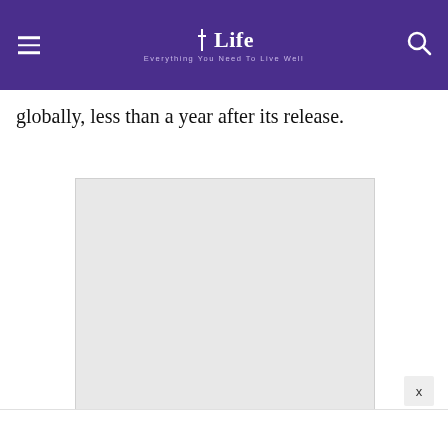Life — Everything You Need To Live Well
globally, less than a year after its release.
[Figure (photo): A light gray placeholder image block, approximately 298x235 pixels, with a light border.]
X